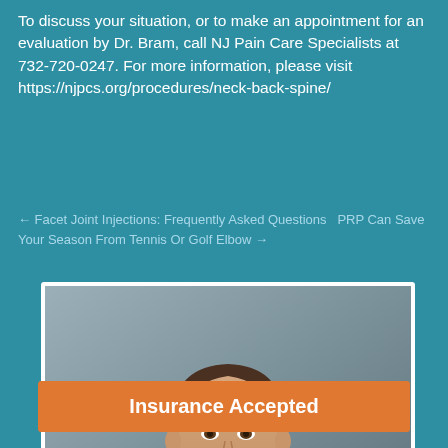To discuss your situation, or to make an appointment for an evaluation by Dr. Bram, call NJ Pain Care Specialists at 732-720-0247. For more information, please visit https://njpcs.org/procedures/neck-back-spine/
← Facet Joint Injections: Frequently Asked Questions PRP Can Save Your Season From Tennis Or Golf Elbow →
[Figure (photo): Professional headshot of Dr. Harris Bram in a dark suit and patterned tie, smiling, with a 'View Achievements' orange button overlay at the bottom of the photo frame.]
Harris Bram | MD, DABPM
Insurance Accepted